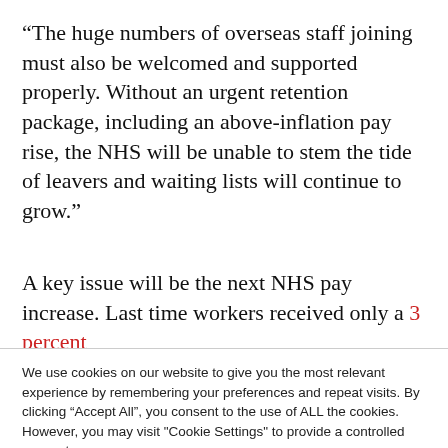“The huge numbers of overseas staff joining must also be welcomed and supported properly. Without an urgent retention package, including an above-inflation pay rise, the NHS will be unable to stem the tide of leavers and waiting lists will continue to grow.”
A key issue will be the next NHS pay increase. Last time workers received only a 3 percent
We use cookies on our website to give you the most relevant experience by remembering your preferences and repeat visits. By clicking “Accept All”, you consent to the use of ALL the cookies. However, you may visit "Cookie Settings" to provide a controlled consent.